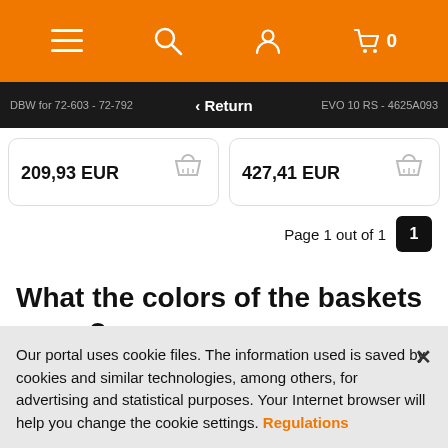[Figure (screenshot): Orange mobile navigation bar with hamburger menu, search, user account, and cart icons]
[Figure (screenshot): Dark navigation bar with Return button and product names on either side]
DBW for 72-603 - 72-792
EVO 10 RS - 4625A093
209,93 EUR
427,41 EUR
Page 1 out of 1  1
What the colors of the baskets mean?
Our portal uses cookie files. The information used is saved by cookies and similar technologies, among others, for advertising and statistical purposes. Your Internet browser will help you change the cookie settings. Regulations